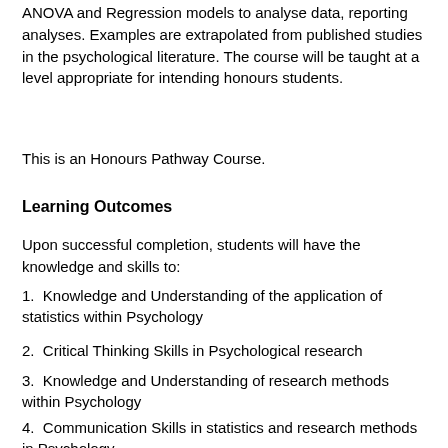ANOVA and Regression models to analyse data, reporting analyses. Examples are extrapolated from published studies in the psychological literature. The course will be taught at a level appropriate for intending honours students.
This is an Honours Pathway Course.
Learning Outcomes
Upon successful completion, students will have the knowledge and skills to:
1. Knowledge and Understanding of the application of statistics within Psychology
2. Critical Thinking Skills in Psychological research
3. Knowledge and Understanding of research methods within Psychology
4. Communication Skills in statistics and research methods in Psychology